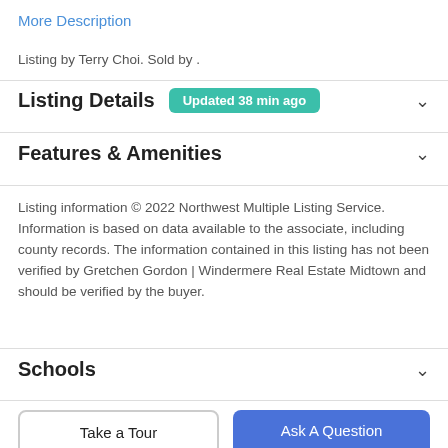More Description
Listing by Terry Choi. Sold by .
Listing Details  Updated 38 min ago
Features & Amenities
Listing information © 2022 Northwest Multiple Listing Service. Information is based on data available to the associate, including county records. The information contained in this listing has not been verified by Gretchen Gordon | Windermere Real Estate Midtown and should be verified by the buyer.
Schools
Take a Tour
Ask A Question